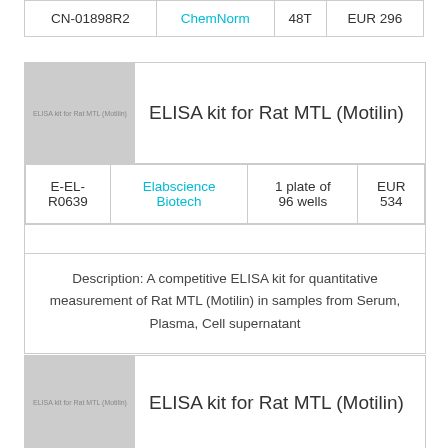| CN-01898R2 | ChemNorm | 48T | EUR 296 |
[Figure (photo): Thumbnail image placeholder for ELISA kit for Rat MTL (Motilin) product, gray box with label text]
ELISA kit for Rat MTL (Motilin)
| E-EL-R0639 | Elabscience Biotech | 1 plate of 96 wells | EUR 534 |
Description: A competitive ELISA kit for quantitative measurement of Rat MTL (Motilin) in samples from Serum, Plasma, Cell supernatant
[Figure (photo): Thumbnail image placeholder for second ELISA kit for Rat MTL (Motilin) product, gray box with label text]
ELISA kit for Rat MTL (Motilin)